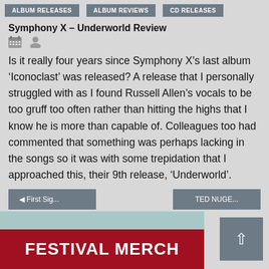ALBUM RELEASES | ALBUM REVIEWS | CD RELEASES
Symphony X – Underworld Review
Is it really four years since Symphony X's last album 'Iconoclast' was released? A release that I personally struggled with as I found Russell Allen's vocals to be too gruff too often rather than hitting the highs that I know he is more than capable of. Colleagues too had commented that something was perhaps lacking in the songs so it was with some trepidation that I approached this, their 9th release, 'Underworld'.
◄ First Sig... | TED NUGE...
[Figure (other): Festival Merch banner with teal top section and red bottom section with white bold text reading FESTIVAL MERCH]